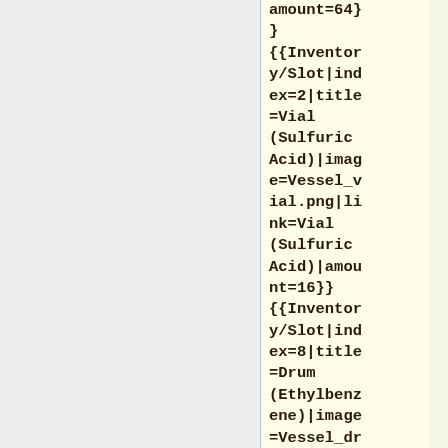amount=64}
}
{{Inventory/Slot|index=2|title=Vial (Sulfuric Acid)|image=Vessel_vial.png|link=Vial (Sulfuric Acid)|amount=16}}
{{Inventory/Slot|index=8|title=Drum (Ethylbenzene)|image=Vessel_drum.png|lin